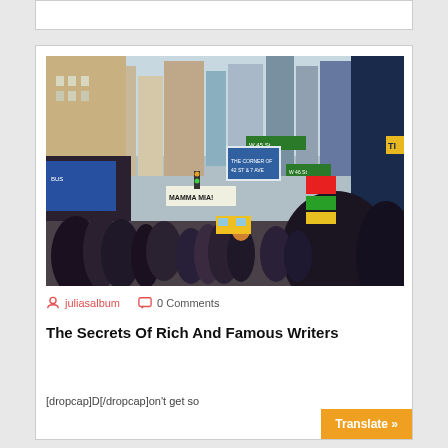[Figure (photo): Street-level photo of Times Square, New York City, showing tall buildings, colorful billboards including a Duane Reade sign, traffic, and a crowd of pedestrians in the foreground.]
juliasalbum   0 Comments
The Secrets Of Rich And Famous Writers
[dropcap]D[/dropcap]on't get so